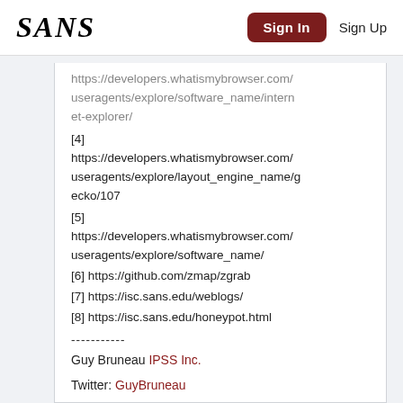SANS | Sign In | Sign Up
https://developers.whatismybrowser.com/useragents/explore/software_name/internet-explorer/
[4] https://developers.whatismybrowser.com/useragents/explore/layout_engine_name/gecko/107
[5] https://developers.whatismybrowser.com/useragents/explore/software_name/
[6] https://github.com/zmap/zgrab
[7] https://isc.sans.edu/weblogs/
[8] https://isc.sans.edu/honeypot.html
-----------
Guy Bruneau IPSS Inc.
Twitter: GuyBruneau